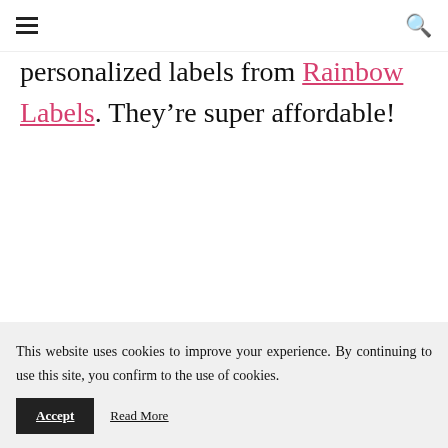≡  🔍
personalized labels from Rainbow Labels. They're super affordable!
This website uses cookies to improve your experience. By continuing to use this site, you confirm to the use of cookies.
Accept   Read More